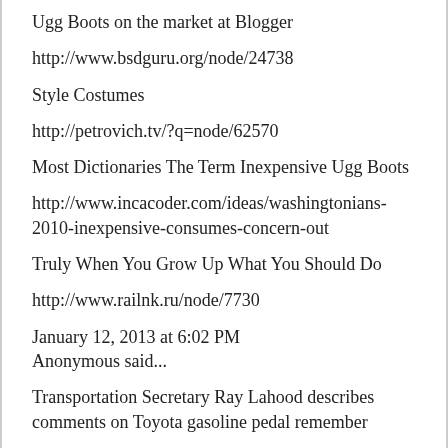Ugg Boots on the market at Blogger
http://www.bsdguru.org/node/24738
Style Costumes
http://petrovich.tv/?q=node/62570
Most Dictionaries The Term Inexpensive Ugg Boots
http://www.incacoder.com/ideas/washingtonians-2010-inexpensive-consumes-concern-out
Truly When You Grow Up What You Should Do
http://www.railnk.ru/node/7730
January 12, 2013 at 6:02 PM
Anonymous said...
Transportation Secretary Ray Lahood describes comments on Toyota gasoline pedal remember
http://www.shumma.com.mx/?q=node/142639
How To Pick Your Completely Fitting Trousers